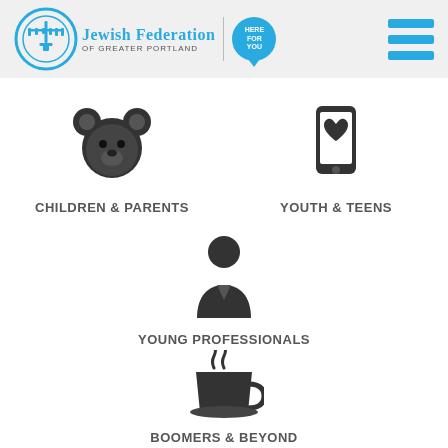[Figure (logo): Jewish Federation of Greater Portland logo with 'Here For You' speech bubble]
[Figure (illustration): Menu hamburger icon in blue]
[Figure (illustration): Bear face icon for Children & Parents section]
CHILDREN & PARENTS
[Figure (illustration): Smartphone with heart icon for Youth & Teens section]
YOUTH & TEENS
[Figure (illustration): Person/professional silhouette icon for Young Professionals section]
YOUNG PROFESSIONALS
[Figure (illustration): Coffee cup with steam icon for Boomers & Beyond section]
BOOMERS & BEYOND